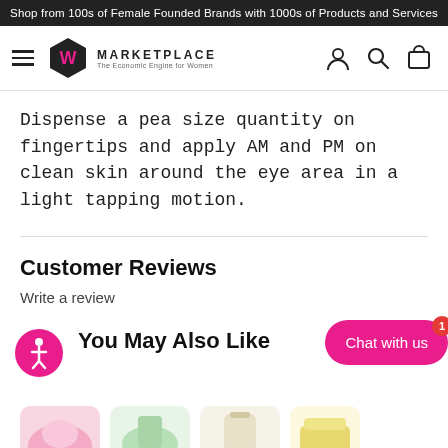Shop from 100s of Female Founded Brands with 1000s of Products and Services
[Figure (logo): W Marketplace logo with hexagon icon, hamburger menu, and nav icons (user, search, cart)]
Dispense a pea size quantity on fingertips and apply AM and PM on clean skin around the eye area in a light tapping motion.
Customer Reviews
Write a review
You May Also Like
[Figure (screenshot): Chat with us button (pink, rounded) with red badge showing 1, and accessibility icon button (pink circle with person symbol)]